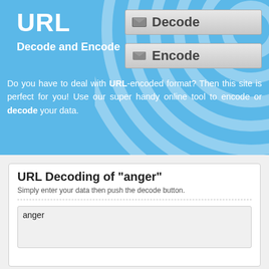URL
Decode and Encode
[Figure (other): Decode button with envelope icon]
[Figure (other): Encode button with envelope icon]
Do you have to deal with URL-encoded format? Then this site is perfect for you! Use our super handy online tool to encode or decode your data.
URL Decoding of "anger"
Simply enter your data then push the decode button.
anger